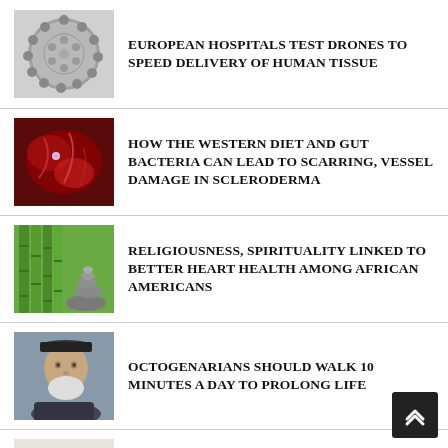[Figure (photo): Microscopic image of virus or tissue sample, grayscale spherical structure]
EUROPEAN HOSPITALS TEST DRONES TO SPEED DELIVERY OF HUMAN TISSUE
[Figure (photo): Red microscopic image showing cells or blood vessels, dark red with some bright spots]
HOW THE WESTERN DIET AND GUT BACTERIA CAN LEAD TO SCARRING, VESSEL DAMAGE IN SCLERODERMA
[Figure (photo): Green bamboo stalks and stacked stones]
RELIGIOUSNESS, SPIRITUALITY LINKED TO BETTER HEART HEALTH AMONG AFRICAN AMERICANS
[Figure (photo): Elderly man with white beard wearing a cap]
OCTOGENARIANS SHOULD WALK 10 MINUTES A DAY TO PROLONG LIFE
[Figure (photo): Person using digital media, reading or using a tablet/book]
USING DIGITAL MEDIA TO RELAX IS RELATED TO LOWER-QUALITY PARENTING